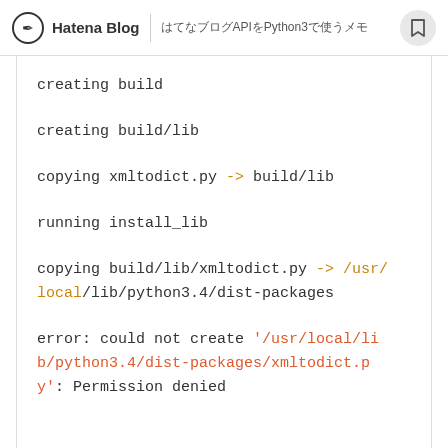Hatena Blog | はてなブログAPIをPython3で使うメモ
creating build

creating build/lib

copying xmltodict.py -> build/lib

running install_lib

copying build/lib/xmltodict.py -> /usr/local/lib/python3.4/dist-packages

error: could not create '/usr/local/lib/python3.4/dist-packages/xmltodict.py': Permission denied